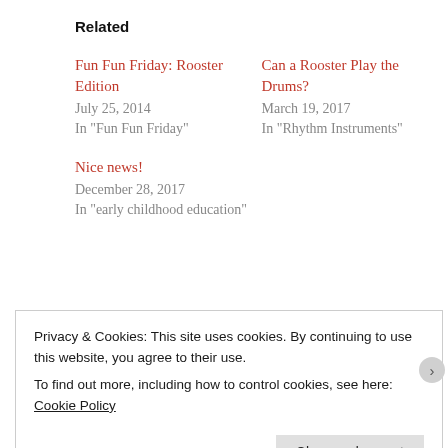Related
Fun Fun Friday: Rooster Edition
July 25, 2014
In "Fun Fun Friday"
Can a Rooster Play the Drums?
March 19, 2017
In "Rhythm Instruments"
Nice news!
December 28, 2017
In "early childhood education"
This entry was posted in Stories and tagged animals, early childhod music, preschool music, stories about roosters. Bookmark the permalink.
Privacy & Cookies: This site uses cookies. By continuing to use this website, you agree to their use.
To find out more, including how to control cookies, see here: Cookie Policy